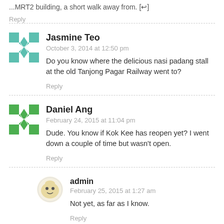...MRT2 building, a short walk away from. [↩]
Reply
Jasmine Teo
October 3, 2014 at 12:50 pm
Do you know where the delicious nasi padang stall at the old Tanjong Pagar Railway went to?
Reply
Daniel Ang
February 24, 2015 at 11:04 pm
Dude. You know if Kok Kee has reopen yet? I went down a couple of time but wasn't open.
Reply
admin
February 25, 2015 at 1:27 am
Not yet, as far as I know.
Reply